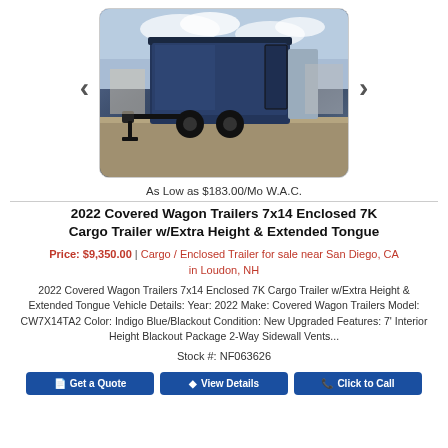[Figure (photo): Dark blue/navy enclosed cargo trailer parked on gravel lot, side and rear view, with black rims and extended tongue, photographed outdoors with clouds in background]
As Low as $183.00/Mo W.A.C.
2022 Covered Wagon Trailers 7x14 Enclosed 7K Cargo Trailer w/Extra Height & Extended Tongue
Price: $9,350.00  |  Cargo / Enclosed Trailer for sale near San Diego, CA in Loudon, NH
2022 Covered Wagon Trailers 7x14 Enclosed 7K Cargo Trailer w/Extra Height & Extended Tongue Vehicle Details: Year: 2022 Make: Covered Wagon Trailers Model: CW7X14TA2 Color: Indigo Blue/Blackout Condition: New Upgraded Features: 7' Interior Height Blackout Package 2-Way Sidewall Vents...
Stock #: NF063626
Get a Quote
View Details
Click to Call